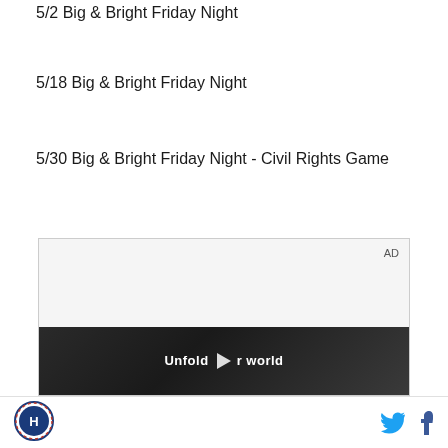5/2 Big & Bright Friday Night
5/18 Big & Bright Friday Night
5/30 Big & Bright Friday Night - Civil Rights Game
[Figure (screenshot): Advertisement video player showing a person holding a foldable phone with text 'Unfold your world' and a play button overlay. AD label in top right corner.]
Logo icon, Twitter icon, Facebook icon